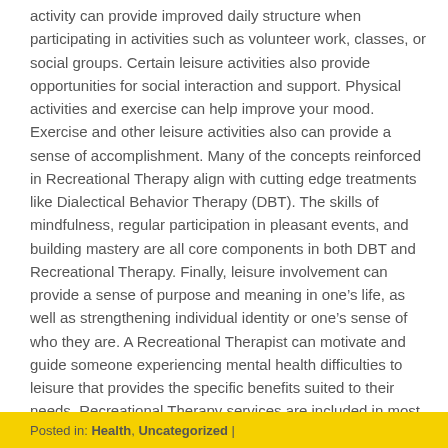activity can provide improved daily structure when participating in activities such as volunteer work, classes, or social groups. Certain leisure activities also provide opportunities for social interaction and support. Physical activities and exercise can help improve your mood. Exercise and other leisure activities also can provide a sense of accomplishment. Many of the concepts reinforced in Recreational Therapy align with cutting edge treatments like Dialectical Behavior Therapy (DBT). The skills of mindfulness, regular participation in pleasant events, and building mastery are all core components in both DBT and Recreational Therapy. Finally, leisure involvement can provide a sense of purpose and meaning in one’s life, as well as strengthening individual identity or one’s sense of who they are. A Recreational Therapist can motivate and guide someone experiencing mental health difficulties to leisure that provides the specific benefits suited to their needs. Recreational Therapy services are included in most high quality mental health programs.
Posted in: Health, Uncategorized |